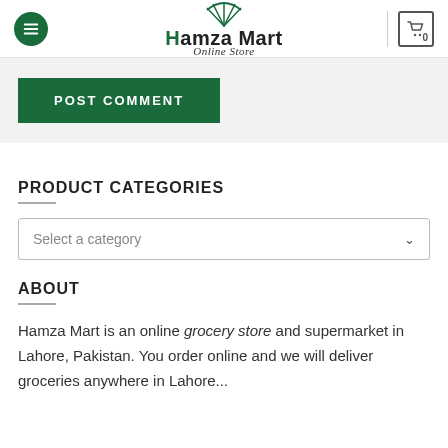Hamza Mart Online Store
[Figure (logo): Hamza Mart logo with green umbrella graphic, bold text 'Hamza Mart' and italic subtitle 'Online Store']
[Figure (other): POST COMMENT button - green rectangle with white bold uppercase text]
PRODUCT CATEGORIES
[Figure (screenshot): Dropdown select field with placeholder text 'Select a category' and chevron down icon]
ABOUT
Hamza Mart is an online grocery store and supermarket in Lahore, Pakistan. You order online and we will deliver groceries anywhere in Lahore...